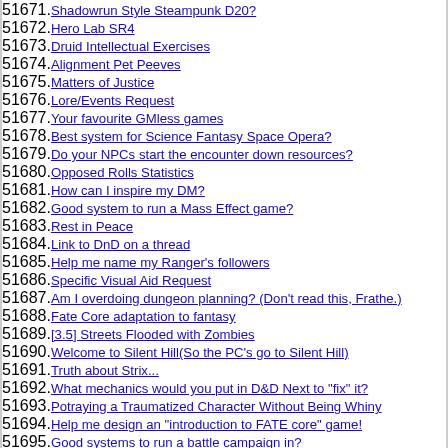51671. Shadowrun Style Steampunk D20?
51672. Hero Lab SR4
51673. Druid Intellectual Exercises
51674. Alignment Pet Peeves
51675. Matters of Justice
51676. Lore/Events Request
51677. Your favourite GMless games
51678. Best system for Science Fantasy Space Opera?
51679. Do your NPCs start the encounter down resources?
51680. Opposed Rolls Statistics
51681. How can I inspire my DM?
51682. Good system to run a Mass Effect game?
51683. Rest in Peace
51684. Link to DnD on a thread
51685. Help me name my Ranger's followers
51686. Specific Visual Aid Request
51687. Am I overdoing dungeon planning? (Don't read this, Frathe.)
51688. Fate Core adaptation to fantasy
51689. [3.5] Streets Flooded with Zombies
51690. Welcome to Silent Hill(So the PC's go to Silent Hill)
51691. Truth about Strix...
51692. What mechanics would you put in D&D Next to "fix" it?
51693. Potraying a Traumatized Character Without Being Whiny
51694. Help me design an "introduction to FATE core" game!
51695. Good systems to run a battle campaign in?
51696. [PF] Point Builds Problematics
51697. Help me work on plot for a Mass Effect campaign
51698. Solo Roleplaying